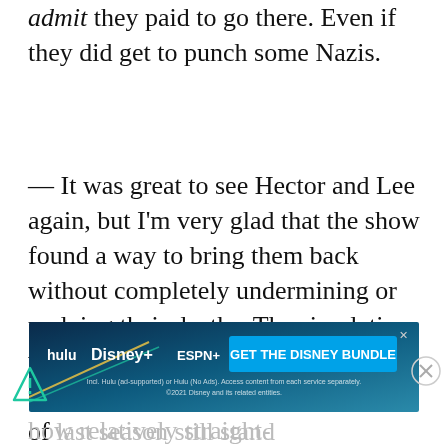admit they paid to go there. Even if they did get to punch some Nazis.
— It was great to see Hector and Lee again, but I'm very glad that the show found a way to bring them back without completely undermining or undoing their deaths. The simulation was a nice twist to keep us questioning reality, but the sacrifices of last season still stand
[Figure (infographic): Disney Bundle advertisement banner with Hulu, Disney+, and ESPN+ logos and 'GET THE DISNEY BUNDLE' call to action button]
how relatively straight-